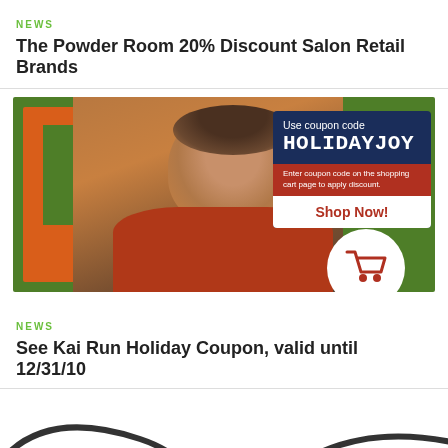NEWS
The Powder Room 20% Discount Salon Retail Brands
[Figure (photo): Advertisement banner for See Kai Run Holiday Coupon. Shows a baby sitting against a green background with an orange letter block. Right side shows a dark navy coupon box with text 'Use coupon code HOLIDAYJOY', a red bar reading 'Enter coupon code on the shopping cart page to apply discount.' and a white 'Shop Now!' button. Bottom right shows a white circle with a red shopping cart icon.]
NEWS
See Kai Run Holiday Coupon, valid until 12/31/10
[Figure (illustration): Partial view of a pair of glasses illustration, shown cropped at bottom of page against white background.]